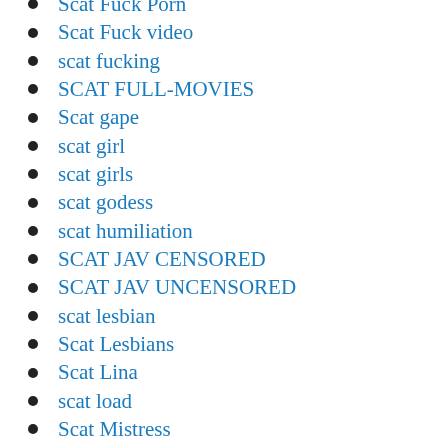Scat Fuck Porn
Scat Fuck video
scat fucking
SCAT FULL-MOVIES
Scat gape
scat girl
scat girls
scat godess
scat humiliation
SCAT JAV CENSORED
SCAT JAV UNCENSORED
scat lesbian
Scat Lesbians
Scat Lina
scat load
Scat Mistress